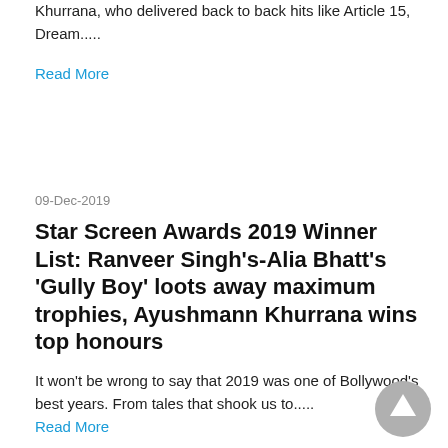Khurrana, who delivered back to back hits like Article 15, Dream.....
Read More
09-Dec-2019
Star Screen Awards 2019 Winner List: Ranveer Singh's-Alia Bhatt's 'Gully Boy' loots away maximum trophies, Ayushmann Khurrana wins top honours
It won't be wrong to say that 2019 was one of Bollywood's best years. From tales that shook us to.....
Read More